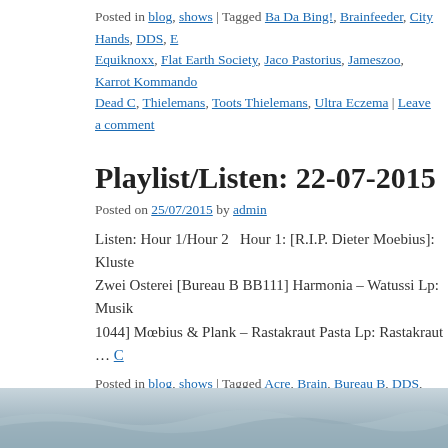Posted in blog, shows | Tagged Ba Da Bing!, Brainfeeder, City Hands, DDS, Equiknoxx, Flat Earth Society, Jaco Pastorius, Jameszoo, Karrot Kommando, Dead C, Thielemans, Toots Thielemans, Ultra Eczema | Leave a comment
Playlist/Listen: 22-07-2015
Posted on 25/07/2015 by admin
Listen: Hour 1/Hour 2   Hour 1: [R.I.P. Dieter Moebius]: Kluster – Zwei Osterei [Bureau B BB111] Harmonia – Watussi Lp: Musik 1044] Mœbius & Plank – Rastakraut Pasta Lp: Rastakraut … C
Posted in blog, shows | Tagged Acre, Brain, Bureau B, DDS, Desire, Dieter M, Inigo Kennedy, Kluster, M.E.S.H., Mœbius & Plank, Pan, Pan X Codes, Regis, Odenthal | Leave a comment
Majjem Radio